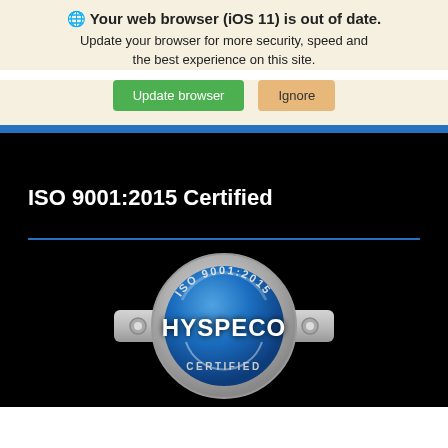🌐 Your web browser (iOS 11) is out of date. Update your browser for more security, speed and the best experience on this site.
[Figure (screenshot): Two buttons: a green 'Update browser' button and a tan/orange 'Ignore' button]
ISO 9001:2015 Certified
[Figure (logo): HYSPECO ISO 9001:2015 Certified badge - circular silver and blue medallion with 'HYSPECO' text and 'CERTIFIED' below, with side tabs]